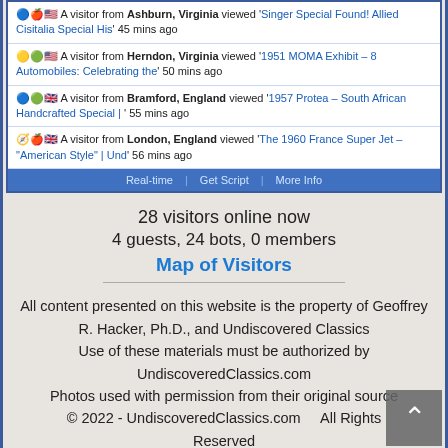A visitor from Ashburn, Virginia viewed 'Singer Special Found! Allied Cisitalia Special His' 45 mins ago
A visitor from Herndon, Virginia viewed '1951 MOMA Exhibit – 8 Automobiles: Celebrating the' 50 mins ago
A visitor from Bramford, England viewed '1957 Protea – South African Handcrafted Special | ' 55 mins ago
A visitor from London, England viewed 'The 1960 France Super Jet – "American Style" | Und' 56 mins ago
28 visitors online now
4 guests, 24 bots, 0 members
Map of Visitors
All content presented on this website is the property of Geoffrey R. Hacker, Ph.D., and Undiscovered Classics
Use of these materials must be authorized by UndiscoveredClassics.com
Photos used with permission from their original source
© 2022 - UndiscoveredClassics.com    All Rights Reserved